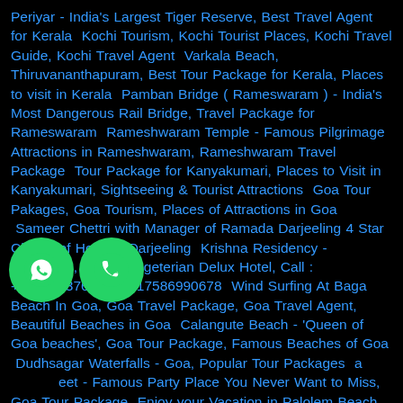Periyar - India's Largest Tiger Reserve, Best Travel Agent for Kerala  Kochi Tourism, Kochi Tourist Places, Kochi Travel Guide, Kochi Travel Agent  Varkala Beach, Thiruvananthapuram, Best Tour Package for Kerala, Places to visit in Kerala  Pamban Bridge ( Rameswaram ) - India's Most Dangerous Rail Bridge, Travel Package for Rameswaram  Rameshwaram Temple - Famous Pilgrimage Attractions in Rameshwaram, Rameshwaram Travel Package  Tour Package for Kanyakumari, Places to Visit in Kanyakumari, Sightseeing & Tourist Attractions  Goa Tour Pakages, Goa Tourism, Places of Attractions in Goa  Sameer Chettri with Manager of Ramada Darjeeling 4 Star Chains of Hotel in Darjeeling  Krishna Residency - Darjeeling, A pure Vegeterian Delux Hotel, Call : +919933376601, +917586990678  Wind Surfing At Baga Beach In Goa, Goa Travel Package, Goa Travel Agent, Beautiful Beaches in Goa  Calangute Beach - 'Queen of Goa beaches',  Goa Tour Package, Famous Beaches of Goa  Dudhsagar Waterfalls - Goa, Popular Tour Packages  Anjuna Street - Famous Party Place You Never Want to Miss, Goa Tour Package  Enjoy your Vacation in Palolem Beach, Goa, Goa Tour Packages  Anjuna Beach - Goa Tour Packages, Goa Travel Agent, How to Reach
[Figure (illustration): Two green circular buttons side by side - a WhatsApp icon button and a phone call icon button, overlaid on the text content]